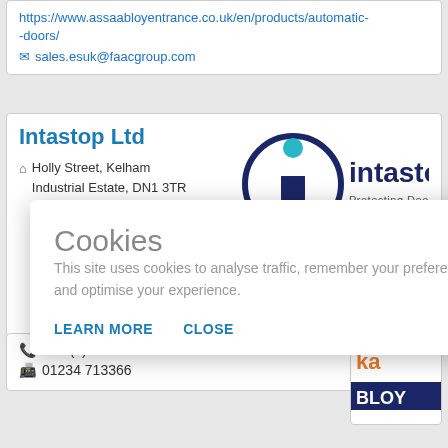https://www.assaabloyentrance.co.uk/en/products/automatic-doors/
sales.esuk@faacgroup.com
Intastop Ltd
Holly Street, Kelham Industrial Estate, DN1 3TR United Kingdom
[Figure (logo): Intastop logo: circle with letter i, text 'intastop', tagline 'Protecting Doors, People & Places']
Cookies
This site uses cookies to analyse traffic, remember your preferences, and optimise your experience.
LEARN MORE
CLOSE
+44 (0) 1234 712345
01234 713366